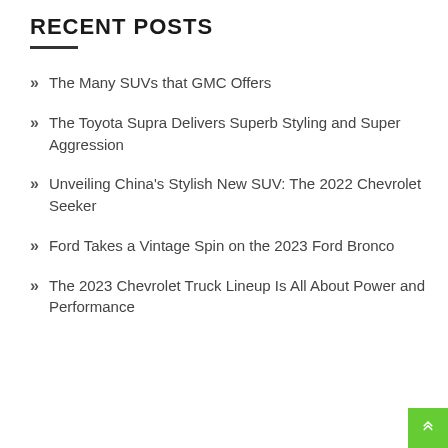RECENT POSTS
The Many SUVs that GMC Offers
The Toyota Supra Delivers Superb Styling and Super Aggression
Unveiling China’s Stylish New SUV: The 2022 Chevrolet Seeker
Ford Takes a Vintage Spin on the 2023 Ford Bronco
The 2023 Chevrolet Truck Lineup Is All About Power and Performance